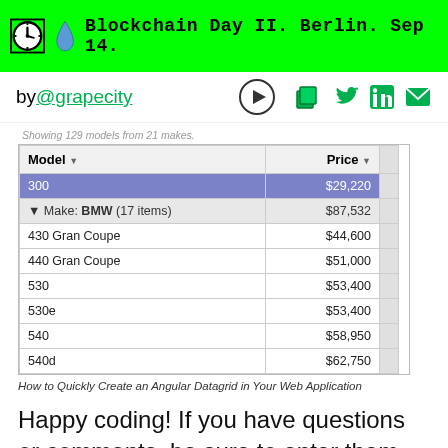Blockchain Day II. Berlin. Sep 14.
by @grapecity
Showing 129 models from 21 makes.
| Model | Price |
| --- | --- |
| 300 | $29,220 |
| ◄ Make: BMW (17 items) | $87,532 |
| 430 Gran Coupe | $44,600 |
| 440 Gran Coupe | $51,000 |
| 530 | $53,400 |
| 530e | $53,400 |
| 540 | $58,950 |
| 540d | $62,750 |
How to Quickly Create an Angular Datagrid in Your Web Application
Happy coding! If you have questions or comments, be sure to enter them below.
Download Now!